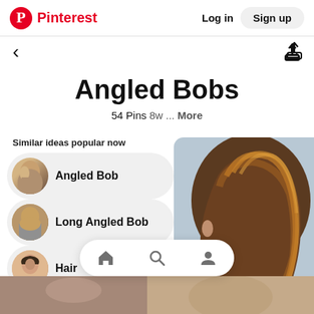Pinterest  Log in  Sign up
Angled Bobs
54 Pins 8w ... More
Similar ideas popular now
Angled Bob
Long Angled Bob
Hair
[Figure (photo): Back view of a person with a brown highlighted angled bob haircut against a light blue background]
[Figure (photo): Bottom strip showing two hair-related thumbnail images]